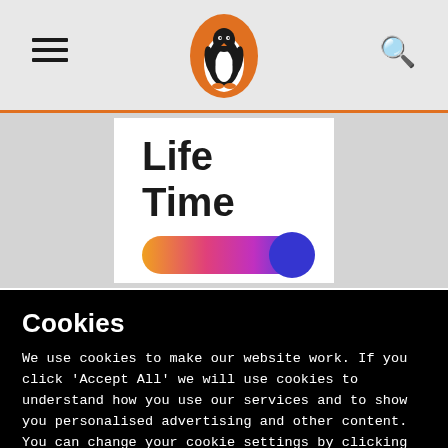[Figure (screenshot): Penguin Books website header with hamburger menu icon on left, Penguin logo (orange oval with penguin) in center, search icon on right, on light grey background with orange divider line below.]
[Figure (illustration): Book cover for 'Life Time' showing bold black text 'Life Time' on white background with colorful gradient pill shape (orange to pink to purple/blue) below text, set against grey background.]
Cookies
We use cookies to make our website work. If you click 'Accept All' we will use cookies to understand how you use our services and to show you personalised advertising and other content. You can change your cookie settings by clicking 'Manage Cookies'. For more information please see our cookie policy